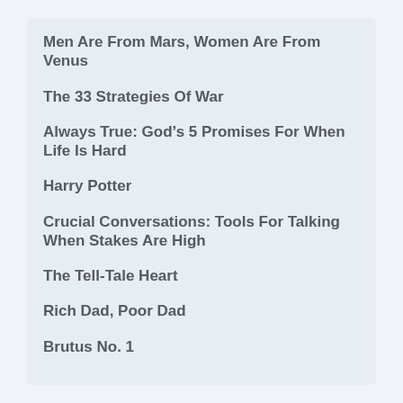Men Are From Mars, Women Are From Venus
The 33 Strategies Of War
Always True: God's 5 Promises For When Life Is Hard
Harry Potter
Crucial Conversations: Tools For Talking When Stakes Are High
The Tell-Tale Heart
Rich Dad, Poor Dad
Brutus No. 1